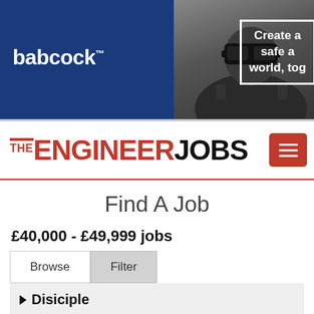[Figure (photo): Babcock banner advertisement showing a person wearing a VR headset, with text 'Create a safe a world, tog' on blue background with white border box. Babcock logo on the left.]
[Figure (logo): TheEngineerJobs logo: 'THE' in red with red overline, 'ENGINEER' in red bold, 'JOBS' in black bold. Red hamburger menu button on the right.]
Find A Job
£40,000 - £49,999 jobs
Browse  Filter
Disiciple
Building & Construction 2
Business Management 10
Civil 1